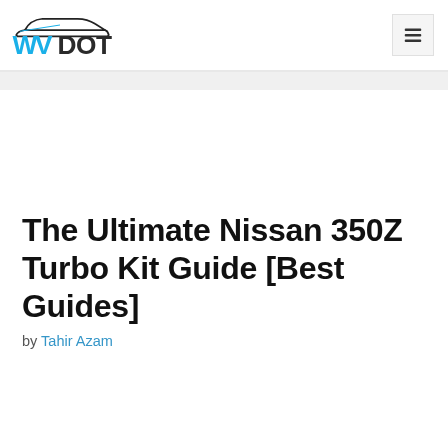WVDOT
The Ultimate Nissan 350Z Turbo Kit Guide [Best Guides]
by Tahir Azam